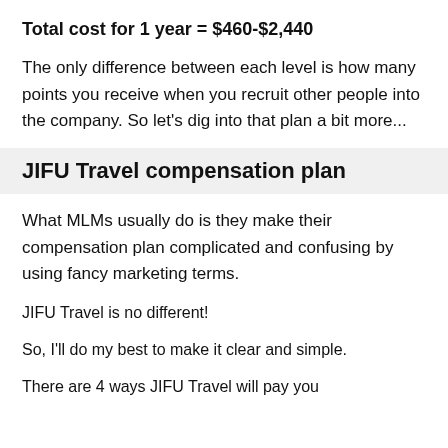Total cost for 1 year = $460-$2,440
The only difference between each level is how many points you receive when you recruit other people into the company. So let's dig into that plan a bit more...
JIFU Travel compensation plan
What MLMs usually do is they make their compensation plan complicated and confusing by using fancy marketing terms.
JIFU Travel is no different!
So, I'll do my best to make it clear and simple.
There are 4 ways JIFU Travel will pay you